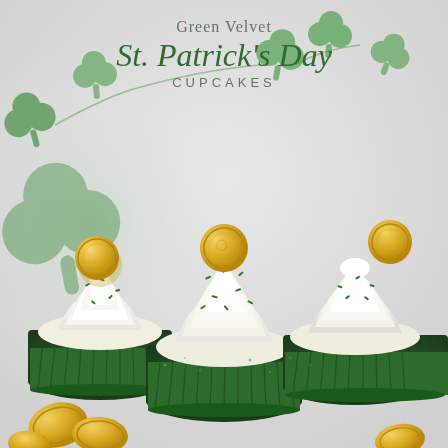[Figure (photo): Photo of green velvet St. Patrick's Day cupcakes with white cream cheese frosting swirls, green sprinkles, and gold chocolate coin decorations, in green foil wrappers. Background shows blurred green shamrock garland decorations against a light grey/white backdrop. Gold chocolate coins are scattered in the foreground.]
Green Velvet St. Patrick's Day CUPCAKES